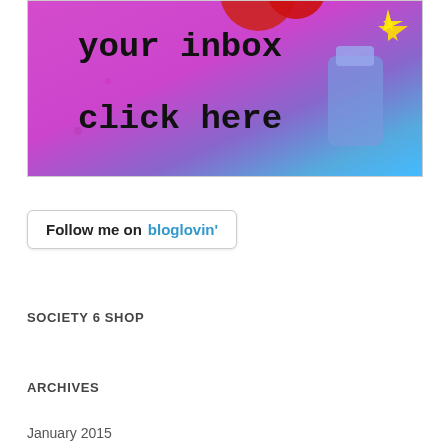[Figure (illustration): Colorful painted banner image with pink/magenta and blue background, red circle decorations, and black typewriter-style text reading 'your inbox click here']
[Figure (other): Bloglovin follow button widget with rounded border reading 'Follow me on bloglovin']
SOCIETY 6 SHOP
ARCHIVES
January 2015